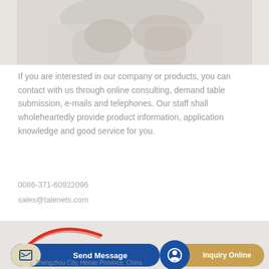[Figure (photo): Photo of hands, partial view, light background]
If you are interested in our company or products, you can contact with us through online consulting, demand table submission, e-mails and telephones. Our staff shall wholeheartedly provide product information, application knowledge and good service for you.
0086-371-60922096
sales@talenets.com
[Figure (logo): TALENET company logo with red swoosh arc]
Send Message
Inquiry Online
Zhengzhou City, Henan Province, China